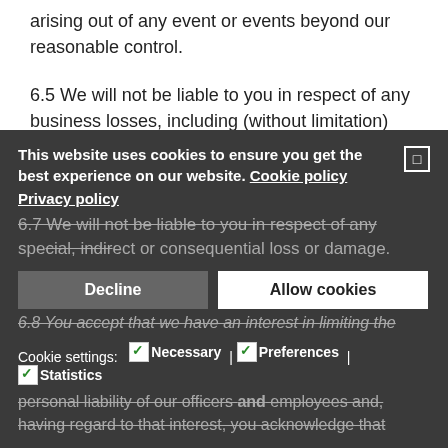arising out of any event or events beyond our reasonable control.
6.5 We will not be liable to you in respect of any business losses, including (without limitation) loss of or damage to profits, income, revenue, use, production, anticipated savings, business, contracts, commercial opportunities or goodwill.
6.6 We will not be liable to you in respect of any loss or corruption of any data, database or software.
6.7 We will not be liable to you in respect of any special, indirect or consequential loss or damage.
6.8 You accept that we have an interest in limiting the personal liability of our officers and employees and, having regard to that interest, you acknowledge that
This website uses cookies to ensure you get the best experience on our website. Cookie policy
Privacy policy
Cookie settings:
☑ Necessary | ☑ Preferences | ☑ Statistics